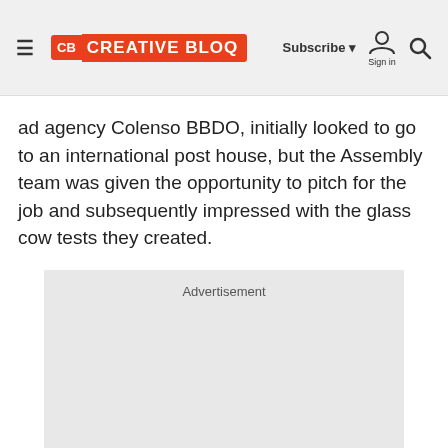CB Creative Bloq — Subscribe | Sign in | Search
ad agency Colenso BBDO, initially looked to go to an international post house, but the Assembly team was given the opportunity to pitch for the job and subsequently impressed with the glass cow tests they created.
[Figure (other): Advertisement placeholder box with label 'Advertisement']